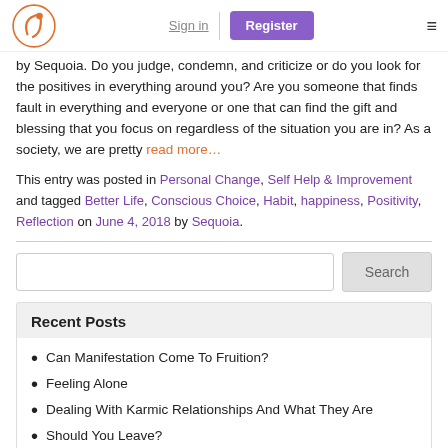Sign in | Register
by Sequoia. Do you judge, condemn, and criticize or do you look for the positives in everything around you? Are you someone that finds fault in everything and everyone or one that can find the gift and blessing that you focus on regardless of the situation you are in? As a society, we are pretty read more…
This entry was posted in Personal Change, Self Help & Improvement and tagged Better Life, Conscious Choice, Habit, happiness, Positivity, Reflection on June 4, 2018 by Sequoia.
Search
Recent Posts
Can Manifestation Come To Fruition?
Feeling Alone
Dealing With Karmic Relationships And What They Are
Should You Leave?
Learning As A Parent